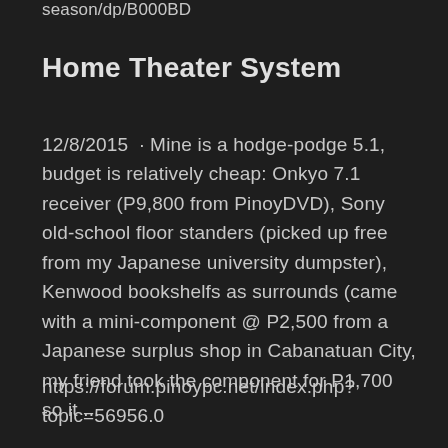season/dp/B000BD
Home Theater System
12/8/2015  · Mine is a hodge-podge 5.1, budget is relatively cheap: Onkyo 7.1 receiver (P9,800 from PinoyDVD), Sony old-school floor standers (picked up free from my Japanese university dumpster), Kenwood bookshelfs as surrounds (came with a mini-component @ P2,500 from a Japanese surplus shop in Cabanatuan City, my friend took the component for P1,700 so it ...
https://forum.pinoypc.net/index.php?topic=56956.0